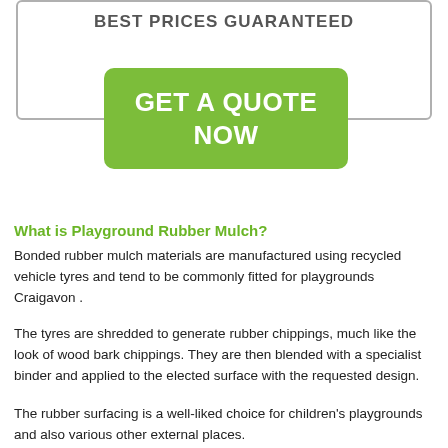BEST PRICES GUARANTEED
[Figure (other): Green call-to-action button with text GET A QUOTE NOW]
What is Playground Rubber Mulch?
Bonded rubber mulch materials are manufactured using recycled vehicle tyres and tend to be commonly fitted for playgrounds Craigavon .
The tyres are shredded to generate rubber chippings, much like the look of wood bark chippings. They are then blended with a specialist binder and applied to the elected surface with the requested design.
The rubber surfacing is a well-liked choice for children's playgrounds and also various other external places.
To find out more, call the...